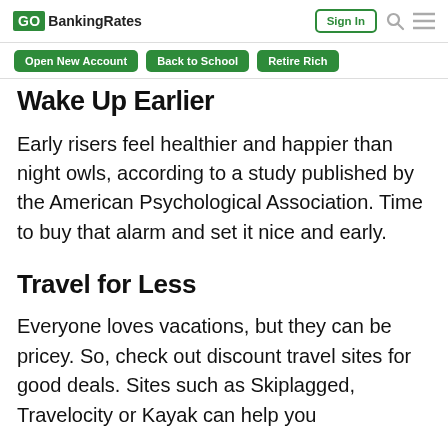GO BankingRates | Sign In
Open New Account | Back to School | Retire Rich
Wake Up Earlier
Early risers feel healthier and happier than night owls, according to a study published by the American Psychological Association. Time to buy that alarm and set it nice and early.
Travel for Less
Everyone loves vacations, but they can be pricey. So, check out discount travel sites for good deals. Sites such as Skiplagged, Travelocity or Kayak can help you